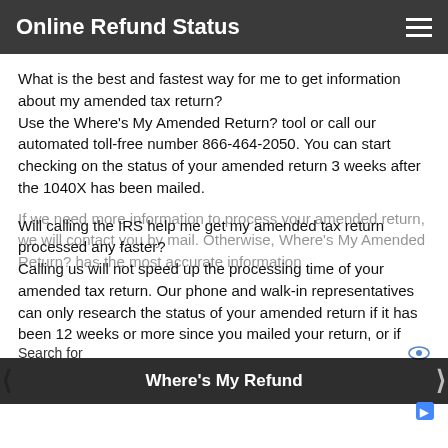Online Refund Status
What is the best and fastest way for me to get information about my amended tax return?
Use the Where's My Amended Return? tool or call our automated toll-free number 866-464-2050. You can start checking on the status of your amended return 3 weeks after the 1040X has been mailed.
Will calling the IRS help me get my amended tax return processed any faster?
Calling us will not speed up the processing time of your amended tax return. Our phone and walk-in representatives can only research the status of your amended return if it has been 12 weeks or more since you mailed your return, or if Where's My Amended Return? directs you to contact us.
If we need more information to process your amended return, we will contact you by mail. Otherwise, Where's My Amended Return? has the most accurate information about your amended return.